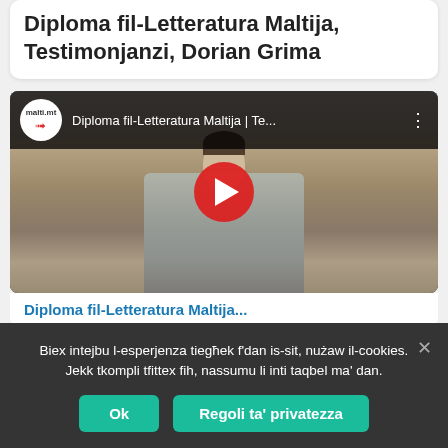Diploma fil-Letteratura Maltija, Testimonjanzi, Dorian Grima
[Figure (screenshot): YouTube video thumbnail showing a man sitting in front of a bookshelf, with a YouTube channel logo for malti.mt, video title 'Diploma fil-Letteratura Maltija | Te...' and a red play button overlay.]
Diploma fil-Letteratura Maltija...
Biex intejbu l-esperjenza tiegħek f'dan is-sit, nużaw il-cookies. Jekk tkompli tfittex fih, nassumu li inti taqbel ma' dan.
Ok
Regoli ta' privatezza